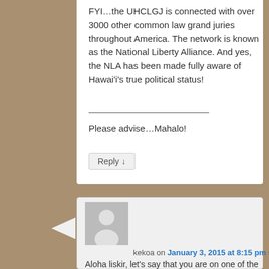FYI…the UHCLGJ is connected with over 3000 other common law grand juries throughout America. The network is known as the National Liberty Alliance. And yes, the NLA has been made fully aware of Hawai'i's true political status!
Please advise…Mahalo!
Reply ↓
kekoa on January 3, 2015 at 8:15 pm said:
Aloha liskir, let's say that you are on one of the